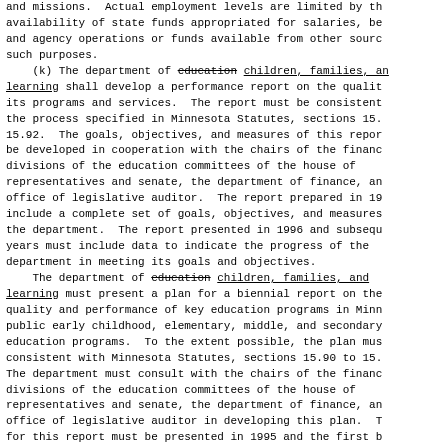and missions.  Actual employment levels are limited by the availability of state funds appropriated for salaries, benefits and agency operations or funds available from other sources for such purposes.
    (k) The department of education children, families, and learning shall develop a performance report on the quality of its programs and services.  The report must be consistent with the process specified in Minnesota Statutes, sections 15.91 to 15.92.  The goals, objectives, and measures of this report must be developed in cooperation with the chairs of the finance divisions of the education committees of the house of representatives and senate, the department of finance, and office of legislative auditor.  The report prepared in 1995 must include a complete set of goals, objectives, and measures for the department.  The report presented in 1996 and subsequent years must include data to indicate the progress of the department in meeting its goals and objectives.
    The department of education children, families, and learning must present a plan for a biennial report on the quality and performance of key education programs in Minnesota public early childhood, elementary, middle, and secondary education programs.  To the extent possible, the plan must be consistent with Minnesota Statutes, sections 15.90 to 15.92. The department must consult with the chairs of the finance divisions of the education committees of the house of representatives and senate, the department of finance, and office of legislative auditor in developing this plan.  The plan for this report must be presented in 1995 and the first biennial report presented in 1996.